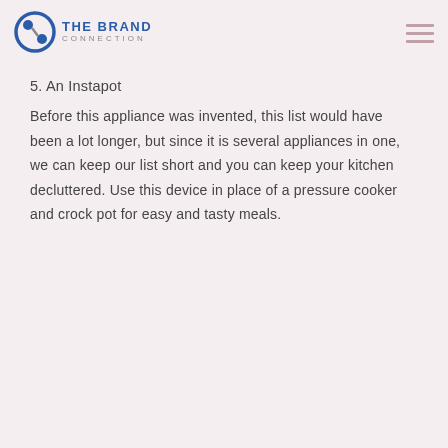THE BRAND CONNECTION
5. An Instapot
Before this appliance was invented, this list would have been a lot longer, but since it is several appliances in one, we can keep our list short and you can keep your kitchen decluttered. Use this device in place of a pressure cooker and crock pot for easy and tasty meals.